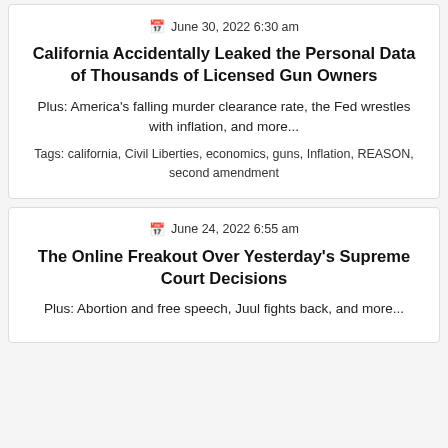June 30, 2022 6:30 am
California Accidentally Leaked the Personal Data of Thousands of Licensed Gun Owners
Plus: America’s falling murder clearance rate, the Fed wrestles with inflation, and more...
Tags: california, Civil Liberties, economics, guns, Inflation, REASON, second amendment
June 24, 2022 6:55 am
The Online Freakout Over Yesterday’s Supreme Court Decisions
Plus: Abortion and free speech, Juul fights back, and more...